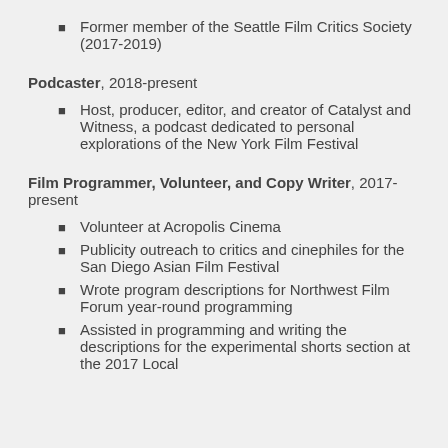Former member of the Seattle Film Critics Society (2017-2019)
Podcaster, 2018-present
Host, producer, editor, and creator of Catalyst and Witness, a podcast dedicated to personal explorations of the New York Film Festival
Film Programmer, Volunteer, and Copy Writer, 2017-present
Volunteer at Acropolis Cinema
Publicity outreach to critics and cinephiles for the San Diego Asian Film Festival
Wrote program descriptions for Northwest Film Forum year-round programming
Assisted in programming and writing the descriptions for the experimental shorts section at the 2017 Local